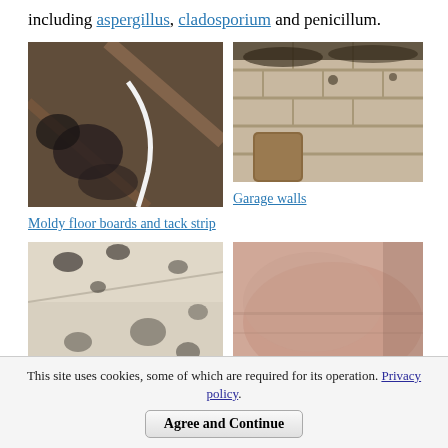including aspergillus, cladosporium and penicillum.
[Figure (photo): Moldy floor boards and tack strip - close-up photo of dark mold growing on floorboards]
Moldy floor boards and tack strip
[Figure (photo): Garage walls - photo of mold-covered garage wall blocks]
Garage walls
[Figure (photo): Garage ceiling and walls with mold spots]
[Figure (photo): Close-up of mold on a surface with reddish/pink tones]
This site uses cookies, some of which are required for its operation. Privacy policy.
Agree and Continue